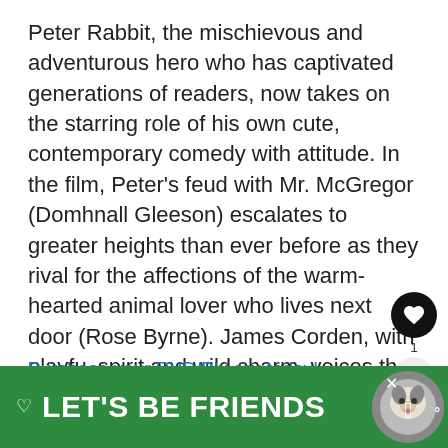Peter Rabbit, the mischievous and adventurous hero who has captivated generations of readers, now takes on the starring role of his own cute, contemporary comedy with attitude. In the film, Peter's feud with Mr. McGregor (Domhnall Gleeson) escalates to greater heights than ever before as they rival for the affections of the warm-hearted animal lover who lives next door (Rose Byrne). James Corden, with playful spirit and wild charm, voices the character of Peter alongside Margot Robbie, Elizabeth Debicki and Daisy Ridley voicing the roles of the triplets, Flopsy, Mopsy, and Cotton-tail.
Purchase your DVD/Blu-ray today!
[Figure (screenshot): Green advertisement bar at bottom reading LET'S BE FRIENDS with a dog image and music icon]